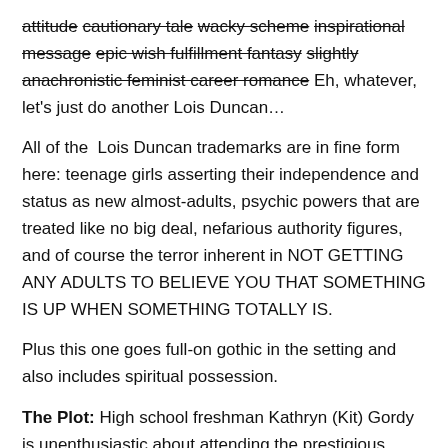attitude cautionary tale wacky scheme inspirational message epic wish fulfillment fantasy slightly anachronistic feminist career romance Eh, whatever, let's just do another Lois Duncan…
All of the Lois Duncan trademarks are in fine form here: teenage girls asserting their independence and status as new almost-adults, psychic powers that are treated like no big deal, nefarious authority figures, and of course the terror inherent in NOT GETTING ANY ADULTS TO BELIEVE YOU THAT SOMETHING IS UP WHEN SOMETHING TOTALLY IS.
Plus this one goes full-on gothic in the setting and also includes spiritual possession.
The Plot: High school freshman Kathryn (Kit) Gordy is unenthusiastic about attending the prestigious Blackwood...